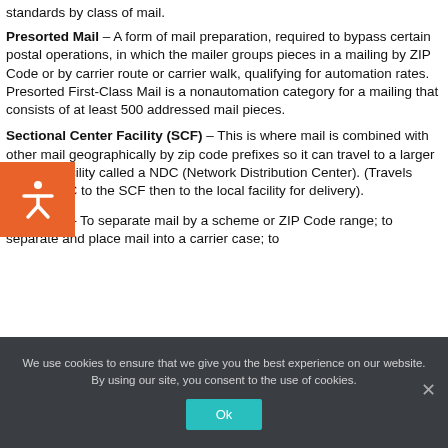standards by class of mail.
Presorted Mail – A form of mail preparation, required to bypass certain postal operations, in which the mailer groups pieces in a mailing by ZIP Code or by carrier route or carrier walk, qualifying for automation rates. Presorted First-Class Mail is a nonautomation category for a mailing that consists of at least 500 addressed mail pieces.
Sectional Center Facility (SCF) – This is where mail is combined with other mail geographically by zip code prefixes so it can travel to a larger regional facility called a NDC (Network Distribution Center). (Travels from a NDC to the SCF then to the local facility for delivery).
Sortation – To separate mail by a scheme or ZIP Code range; to separate and place mail into a carrier case; to
We use cookies to ensure that we give you the best experience on our website. By using our site, you consent to the use of cookies.